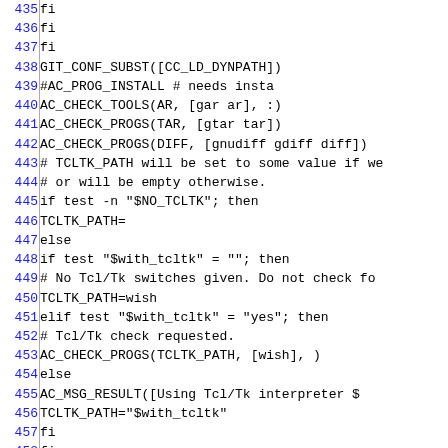Source code listing, lines 435–464, shell/autoconf script (configure.ac)